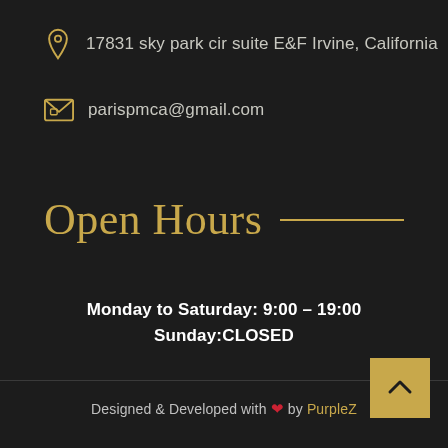17831 sky park cir suite E&F Irvine, California
parispmca@gmail.com
Open Hours
Monday to Saturday: 9:00 – 19:00
Sunday:CLOSED
Designed & Developed with ❤ by PurpleZ